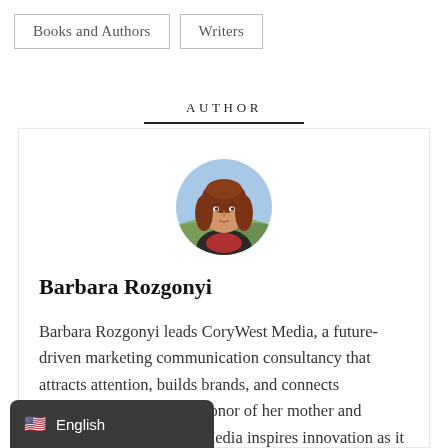Books and Authors
Writers
AUTHOR
[Figure (photo): Circular profile photo of Barbara Rozgonyi, a woman with reddish-brown hair wearing a dark jacket over a red patterned top, photographed outdoors.]
Barbara Rozgonyi
Barbara Rozgonyi leads CoryWest Media, a future-driven marketing communication consultancy that attracts attention, builds brands, and connects communities. Named in honor of her mother and grandmother, CoryWest Media inspires innovation as it fuels growth. Barbara is an international trends avante-garde consultant, and intrepid leadership guide. Her top-ranked blog,
English